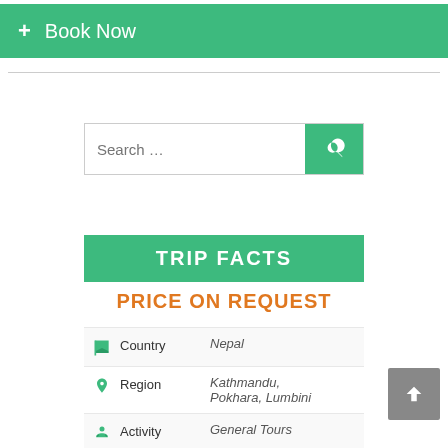+ Book Now
[Figure (screenshot): Search bar with green search button]
TRIP FACTS
PRICE ON REQUEST
|  | Field | Value |
| --- | --- | --- |
| flag | Country | Nepal |
| pin | Region | Kathmandu, Pokhara, Lumbini |
| person | Activity | General Tours |